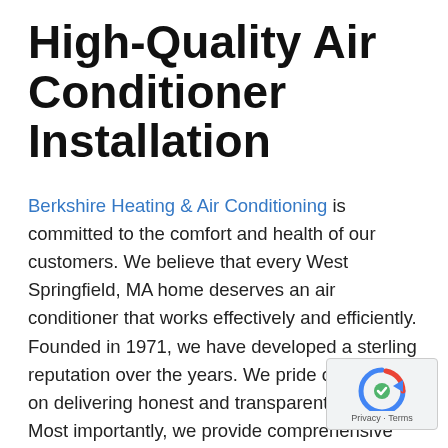High-Quality Air Conditioner Installation
Berkshire Heating & Air Conditioning is committed to the comfort and health of our customers. We believe that every West Springfield, MA home deserves an air conditioner that works effectively and efficiently. Founded in 1971, we have developed a sterling reputation over the years. We pride ourselves on delivering honest and transparent services. Most importantly, we provide comprehensive HVAC services to our clients, ensuring they stay cool throughout the summer. To help you afford your new air conditioner, we offer no-hassle financing (to those who qualify). We look forward to exceeding your expectations. Learn more about our air conditioner installation services below.
[Figure (other): Google reCAPTCHA badge with logo and 'Privacy - Terms' text]